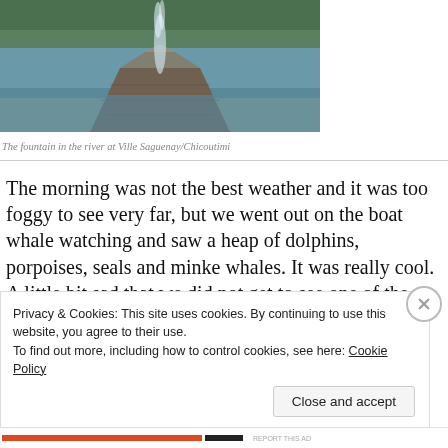[Figure (photo): A fountain shooting water upward from a rocky stone structure in a river, with forested hills in the background at Ville Saguenay/Chicoutimi]
The fountain in the river at Ville Saguenay/Chicoutimi
The morning was not the best weather and it was too foggy to see very far, but we went out on the boat whale watching and saw a heap of dolphins, porpoises, seals and minke whales. It was really cool. A little bit sad that we did not get to see one of the famous blue or humpback whales that frequent this regio
Privacy & Cookies: This site uses cookies. By continuing to use this website, you agree to their use.
To find out more, including how to control cookies, see here: Cookie Policy
Close and accept